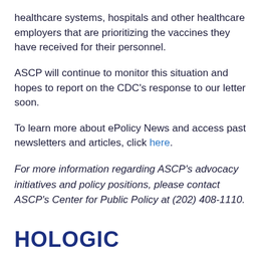healthcare systems, hospitals and other healthcare employers that are prioritizing the vaccines they have received for their personnel.
ASCP will continue to monitor this situation and hopes to report on the CDC's response to our letter soon.
To learn more about ePolicy News and access past newsletters and articles, click here.
For more information regarding ASCP's advocacy initiatives and policy positions, please contact ASCP's Center for Public Policy at (202) 408-1110.
HOLOGIC